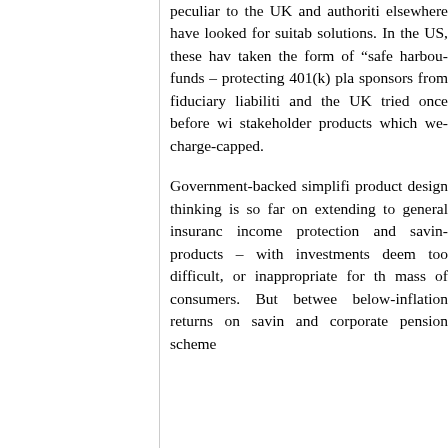peculiar to the UK and authorities elsewhere have looked for suitable solutions. In the US, these have taken the form of “safe harbour” funds – protecting 401(k) plan sponsors from fiduciary liabilities, and the UK tried once before with stakeholder products which were charge-capped.
Government-backed simplified product design thinking is so far only extending to general insurance, income protection and savings products – with investments deemed too difficult, or inappropriate for the mass of consumers. But between below-inflation returns on savings and corporate pension scheme